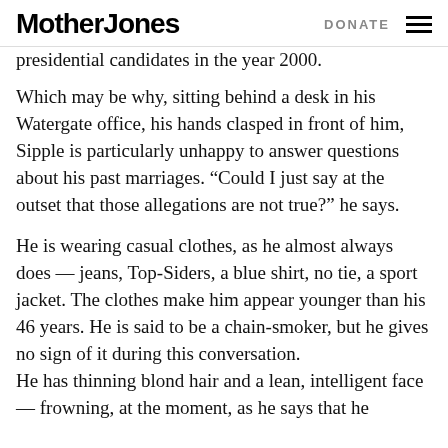Mother Jones  DONATE
presidential candidates in the year 2000.
Which may be why, sitting behind a desk in his Watergate office, his hands clasped in front of him, Sipple is particularly unhappy to answer questions about his past marriages. “Could I just say at the outset that those allegations are not true?” he says.
He is wearing casual clothes, as he almost always does — jeans, Top-Siders, a blue shirt, no tie, a sport jacket. The clothes make him appear younger than his 46 years. He is said to be a chain-smoker, but he gives no sign of it during this conversation.
He has thinning blond hair and a lean, intelligent face — frowning, at the moment, as he says that he